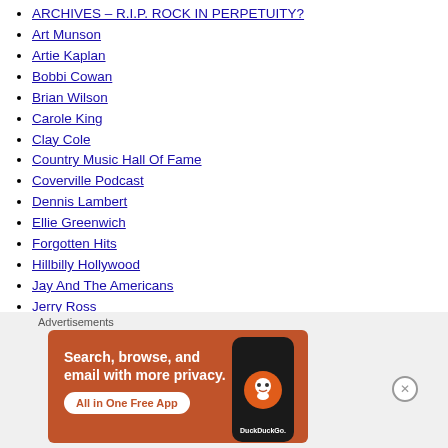ARCHIVES – R.I.P. ROCK IN PERPETUITY?
Art Munson
Artie Kaplan
Bobbi Cowan
Brian Wilson
Carole King
Clay Cole
Country Music Hall Of Fame
Coverville Podcast
Dennis Lambert
Ellie Greenwich
Forgotten Hits
Hillbilly Hollywood
Jay And The Americans
Jerry Ross
Jersey Girls Sing
Joel Diamond
John Madera
[Figure (screenshot): DuckDuckGo advertisement banner with orange background. Text reads: Search, browse, and email with more privacy. All in One Free App. Shows a phone with DuckDuckGo logo.]